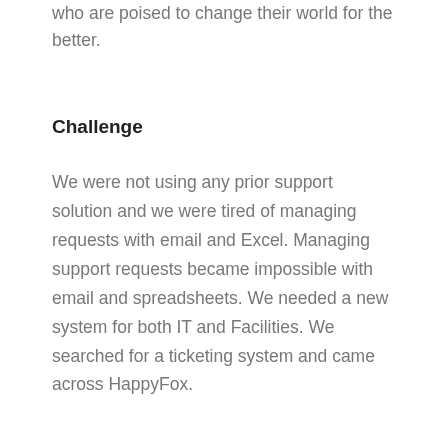who are poised to change their world for the better.
Challenge
We were not using any prior support solution and we were tired of managing requests with email and Excel. Managing support requests became impossible with email and spreadsheets. We needed a new system for both IT and Facilities. We searched for a ticketing system and came across HappyFox.